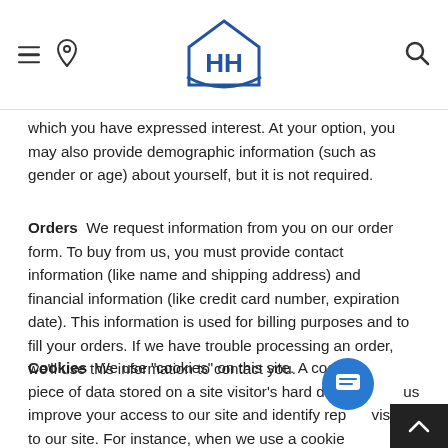HH logo with hamburger menu, location pin, and search icon
which you have expressed interest. At your option, you may also provide demographic information (such as gender or age) about yourself, but it is not required.
Orders  We request information from you on our order form. To buy from us, you must provide contact information (like name and shipping address) and financial information (like credit card number, expiration date). This information is used for billing purposes and to fill your orders. If we have trouble processing an order, we'll use this information to contact you.
Cookies  We use "cookies" on this site. A cookie is a piece of data stored on a site visitor's hard drive to help us improve your access to our site and identify repeat visitors to our site. For instance, when we use a cookie